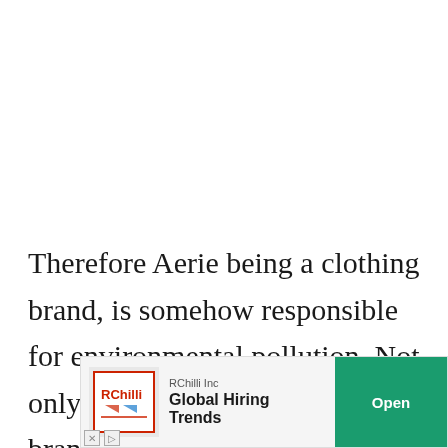Therefore Aerie being a clothing brand, is somehow responsible for environmental pollution. Not only Aerie, but every clothing brand is also responsible for environmental pollution.
[Figure (other): Advertisement banner for RChilli Inc featuring 'Global Hiring Trends' with a teal Open button, company logo, close icons, and sponsored label]